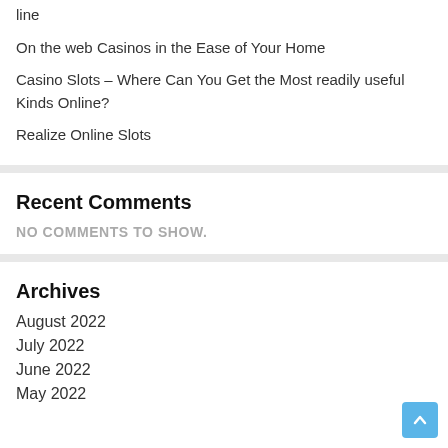line
On the web Casinos in the Ease of Your Home
Casino Slots – Where Can You Get the Most readily useful Kinds Online?
Realize Online Slots
Recent Comments
NO COMMENTS TO SHOW.
Archives
August 2022
July 2022
June 2022
May 2022